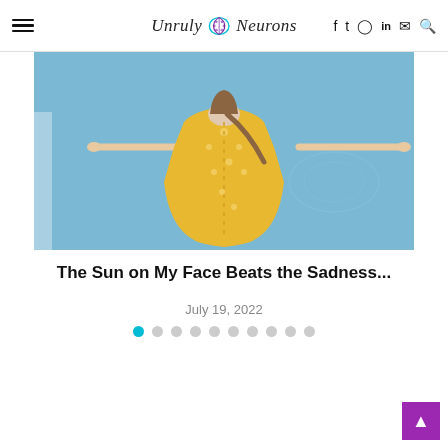Unruly Neurons — navigation header with hamburger menu, logo, social icons
[Figure (photo): Aerial view of a woman in a yellow polka-dot dress floating face-down in a light blue swimming pool with arms outstretched in a cross pose.]
The Sun on My Face Beats the Sadness...
July 19, 2022
Pagination dots: 1 of 10 (first dot active)